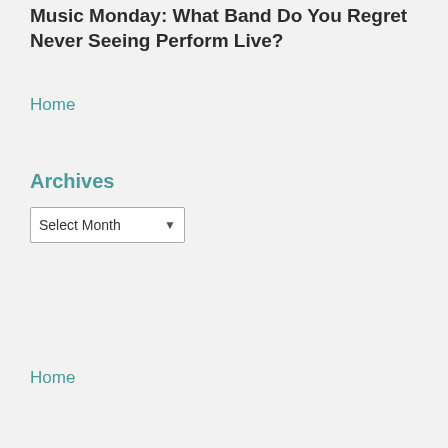Music Monday: What Band Do You Regret Never Seeing Perform Live?
Home
Archives
Select Month
Home